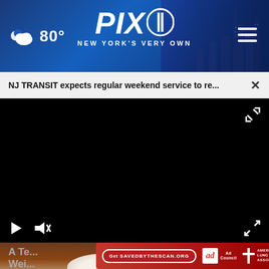[Figure (screenshot): PIX11 news website header with blue gradient background, weather showing cloud icon and 80°, PIX11 logo in center, hamburger menu icon on right, city skyline background on right side]
NJ TRANSIT expects regular weekend service to re...
[Figure (screenshot): Black video player with play button, mute button, and fullscreen expand button controls at the bottom]
[Figure (photo): Partial thumbnail of bowl on wooden surface with powder/flour]
[Figure (screenshot): Ad bar for American Lung Association with red background, 'Get SAVEDBYTHESCAN.ORG' button, Ad Council logo, and American Lung Association logo]
A Te...
Wei...